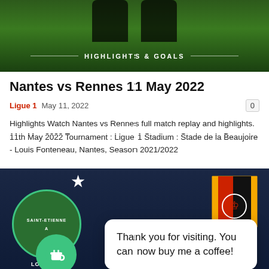[Figure (screenshot): Top banner image showing a green football pitch background with phone-shaped dark overlays and 'HIGHLIGHTS & GOALS' text centered at bottom]
Nantes vs Rennes 11 May 2022
Ligue 1   May 11, 2022   0
Highlights Watch Nantes vs Rennes full match replay and highlights. 11th May 2022 Tournament : Ligue 1 Stadium : Stade de la Beaujoire - Louis Fonteneau, Nantes, Season 2021/2022
[Figure (screenshot): Football match image showing Saint-Etienne and Rennes club logos on dark blue background, with a white rounded popup overlay saying 'Thank you for visiting. You can now buy me a coffee!' and a green circular coffee cup icon button]